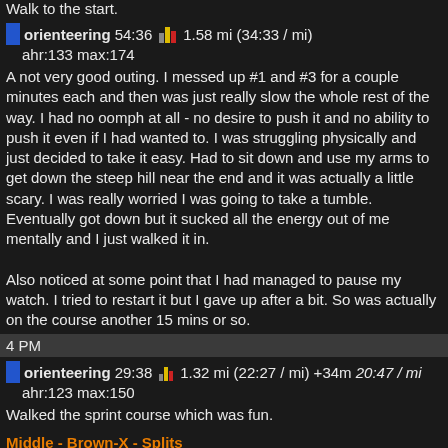Walk to the start.
orienteering 54:36  1.58 mi (34:33 / mi) ahr:133 max:174
A not very good outing. I messed up #1 and #3 for a couple minutes each and then was just really slow the whole rest of the way. I had no oomph at all - no desire to push it and no ability to push it even if I had wanted to. I was struggling physically and just decided to take it easy. Had to sit down and use my arms to get down the steep hill near the end and it was actually a little scary. I was really worried I was going to take a tumble. Eventually got down but it sucked all the energy out of me mentally and I just walked it in.

Also noticed at some point that I had managed to pause my watch. I tried to restart it but I gave up after a bit. So was actually on the course another 15 mins or so.
4 PM
orienteering 29:38  1.32 mi (22:27 / mi) +34m 20:47 / mi ahr:123 max:150
Walked the sprint course which was fun.
Middle - Brown-X - Splits
Sprint - Brown - Splits
Thursday Apr 21
4 PM